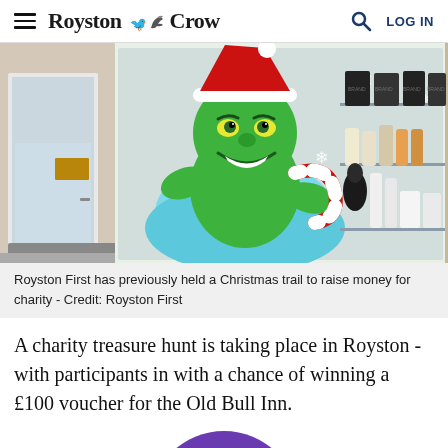≡  Royston Crow  🔍  LOG IN
[Figure (photo): A shop window decorated with a Grinch Christmas display featuring a large Grinch figure wearing a Santa hat, snowflakes, and candy cane decorations. The shop interior shows shelving with products.]
Royston First has previously held a Christmas trail to raise money for charity - Credit: Royston First
A charity treasure hunt is taking place in Royston - with participants in with a chance of winning a £100 voucher for the Old Bull Inn.
[Figure (photo): Partial view of a purple circular logo or image at the bottom of the page.]